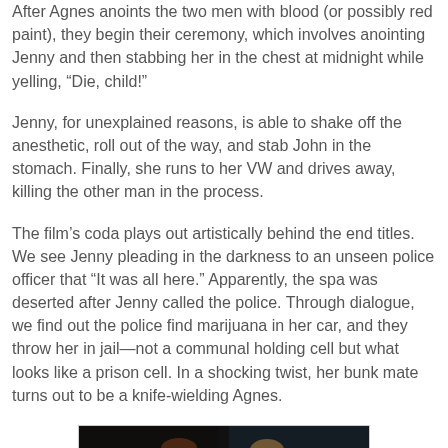After Agnes anoints the two men with blood (or possibly red paint), they begin their ceremony, which involves anointing Jenny and then stabbing her in the chest at midnight while yelling, “Die, child!”
Jenny, for unexplained reasons, is able to shake off the anesthetic, roll out of the way, and stab John in the stomach. Finally, she runs to her VW and drives away, killing the other man in the process.
The film’s coda plays out artistically behind the end titles. We see Jenny pleading in the darkness to an unseen police officer that “It was all here.” Apparently, the spa was deserted after Jenny called the police. Through dialogue, we find out the police find marijuana in her car, and they throw her in jail—not a communal holding cell but what looks like a prison cell. In a shocking twist, her bunk mate turns out to be a knife-wielding Agnes.
[Figure (photo): A dark photograph showing two people, partially visible from the chest up, against a dark background.]